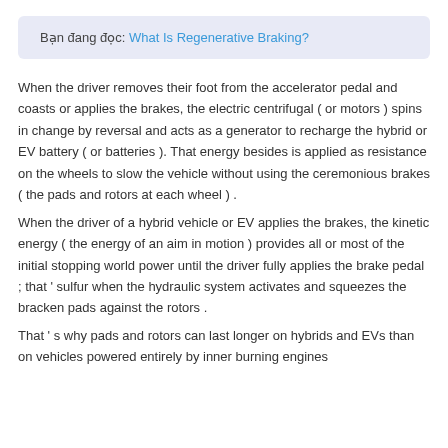Bạn đang đọc: What Is Regenerative Braking?
When the driver removes their foot from the accelerator pedal and coasts or applies the brakes, the electric centrifugal ( or motors ) spins in change by reversal and acts as a generator to recharge the hybrid or EV battery ( or batteries ). That energy besides is applied as resistance on the wheels to slow the vehicle without using the ceremonious brakes ( the pads and rotors at each wheel ) .
When the driver of a hybrid vehicle or EV applies the brakes, the kinetic energy ( the energy of an aim in motion ) provides all or most of the initial stopping world power until the driver fully applies the brake pedal ; that ' sulfur when the hydraulic system activates and squeezes the bracken pads against the rotors .
That ' s why pads and rotors can last longer on hybrids and EVs than on vehicles powered entirely by inner burning engines